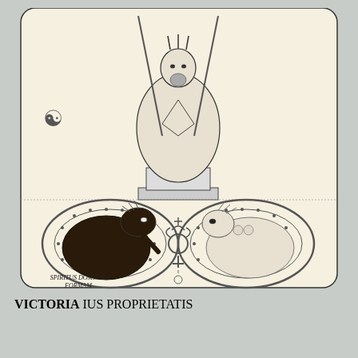[Figure (illustration): Tarot card illustration: 'Hermes 7 The Conqueror'. Upper half shows an armored figure seated on a throne holding weapons, with a triskelion symbol on left. Lower half shows two sphinx-like figures (one dark, one light) facing each other around a central Mercury/caduceus symbol. Text on card reads: 'SPIRITUS DOMINAT FORMAM', 'VICTORIA', 'IUS PROPRIETATIS'. Card has ornate oval wheel designs.]
[Figure (illustration): Row of small triangle/arrow symbols and ornamental glyphs in golden/amber color at the bottom of the page, with a number '2' above them.]